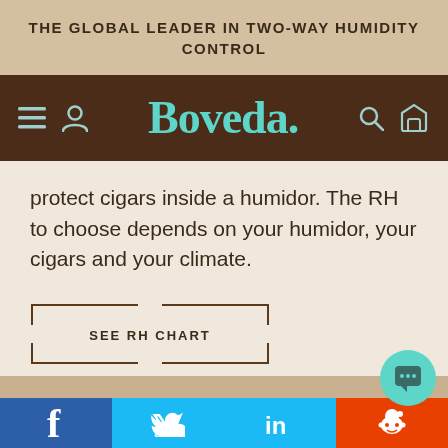THE GLOBAL LEADER IN TWO-WAY HUMIDITY CONTROL
[Figure (logo): Boveda logo with navigation icons (hamburger menu, user icon, search icon, box icon) on dark brown navigation bar]
protect cigars inside a humidor. The RH to choose depends on your humidor, your cigars and your climate.
[Figure (other): SEE RH CHART button with ticket/cutout border style]
Social sharing bar with Facebook, Twitter, LinkedIn, and Reddit icons